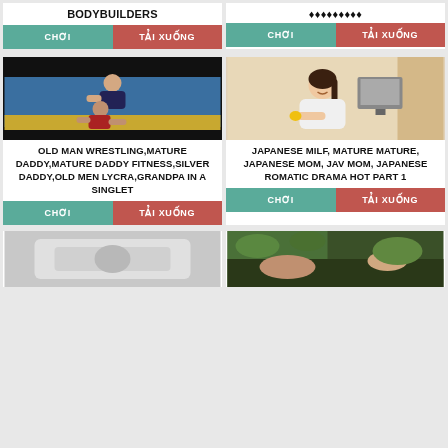BODYBUILDERS
CHƠI | TẢI XUỐNG
CHƠI | TẢI XUỐNG
[Figure (photo): Two men wrestling on a blue mat]
OLD MAN WRESTLING,MATURE DADDY,MATURE DADDY FITNESS,SILVER DADDY,OLD MEN LYCRA,GRANDPA IN A SINGLET
CHƠI | TẢI XUỐNG
[Figure (photo): Japanese woman smiling in room with TV in background]
JAPANESE MILF, MATURE MATURE, JAPANESE MOM, JAV MOM, JAPANESE ROMATIC DRAMA HOT PART 1
CHƠI | TẢI XUỐNG
[Figure (photo): Gray/white background partial image]
[Figure (photo): Outdoor scene with green foliage]